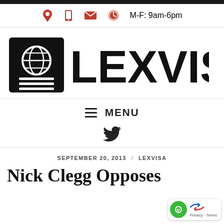[Figure (screenshot): Contact bar with location pin icon, phone icon, email icon, and clock icon with text M-F: 9am-6pm, all icons in red]
[Figure (logo): LEXVISA logo with passport/globe icon on left and bold LEXVISA text on right, all black]
≡ MENU
[Figure (other): Twitter bird icon]
SEPTEMBER 20, 2013 / LEXVISA
Nick Clegg Opposes